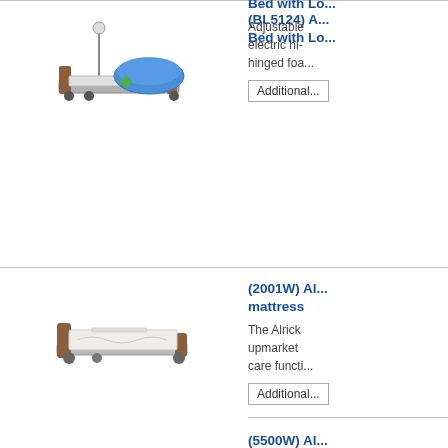[Figure (photo): Hospital bed with IV pole and blue mattress - product BL5124]
(BL5124) A... Bed with Lo...
Adjustable electric hi- hinged foa...
Additional...
[Figure (photo): Adjustable hospital bed with brown headboard and white mattress - product 2001W]
(2001W) AL... mattress
The Alrick upmarket care functi...
Additional...
(5500W) AL... mattress
The Alrick targeted a...